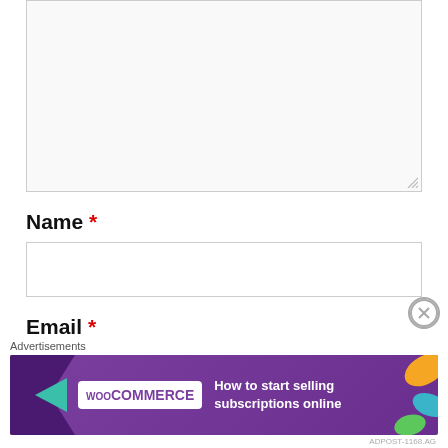[Figure (screenshot): Empty textarea form field with resize handle in bottom-right corner, light gray border on white/light background]
Name *
[Figure (screenshot): Empty text input field for Name, light gray border]
Email *
[Figure (screenshot): Empty text input field for Email, partially visible, light gray border]
Advertisements
[Figure (screenshot): WooCommerce advertisement banner: purple background with arrow shape, WooCommerce logo, text 'How to start selling subscriptions online', decorative colored leaf shapes on right side. Close button (X in circle) top-right of overlay.]